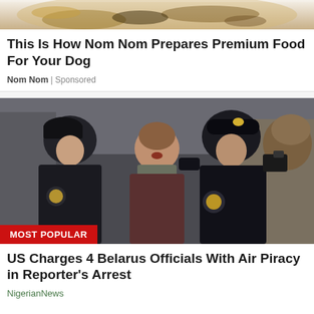[Figure (photo): Top portion of a bowl of dog food, partially cropped at the top of the page]
This Is How Nom Nom Prepares Premium Food For Your Dog
Nom Nom | Sponsored
[Figure (photo): Photo of a young man being detained by two police officers in black uniforms and berets; another man with a camera visible in background. A red badge reads MOST POPULAR.]
US Charges 4 Belarus Officials With Air Piracy in Reporter's Arrest
NigerianNews